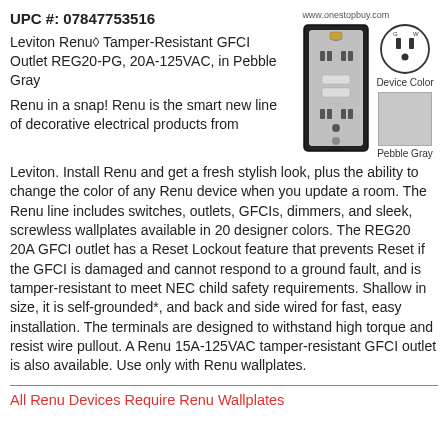UPC #: 07847753516
Leviton Renu® Tamper-Resistant GFCI Outlet REG20-PG, 20A-125VAC, in Pebble Gray
[Figure (photo): Photo of Leviton Renu GFCI outlet in Pebble Gray and plug icon with device color swatch labeled Pebble Gray, website www.onestopbuy.com shown above]
Renu in a snap! Renu is the smart new line of decorative electrical products from Leviton. Install Renu and get a fresh stylish look, plus the ability to change the color of any Renu device when you update a room. The Renu line includes switches, outlets, GFCIs, dimmers, and sleek, screwless wallplates available in 20 designer colors. The REG20 20A GFCI outlet has a Reset Lockout feature that prevents Reset if the GFCI is damaged and cannot respond to a ground fault, and is tamper-resistant to meet NEC child safety requirements. Shallow in size, it is self-grounded*, and back and side wired for fast, easy installation. The terminals are designed to withstand high torque and resist wire pullout. A Renu 15A-125VAC tamper-resistant GFCI outlet is also available. Use only with Renu wallplates.
All Renu Devices Require Renu Wallplates